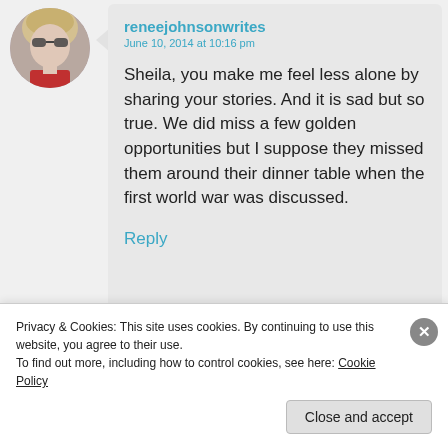[Figure (photo): Circular avatar photo of a blonde woman wearing sunglasses and a red top]
reneejohnsonwrites
June 10, 2014 at 10:16 pm
Sheila, you make me feel less alone by sharing your stories. And it is sad but so true. We did miss a few golden opportunities but I suppose they missed them around their dinner table when the first world war was discussed.
Reply
Advertisements
Privacy & Cookies: This site uses cookies. By continuing to use this website, you agree to their use.
To find out more, including how to control cookies, see here: Cookie Policy
Close and accept